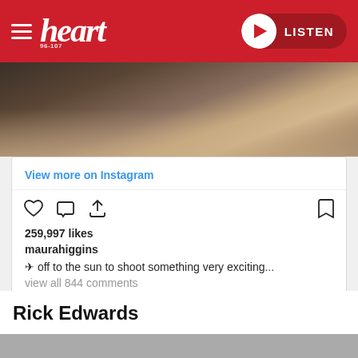heart 96-107 | LISTEN
[Figure (photo): Photo showing people's legs/lower body, appearing to be at an airport or lounge area]
View more on Instagram
259,997 likes
maurahiggins
✈ off to the sun to shoot something very exciting...
view all 844 comments
Add a comment...
Rick Edwards